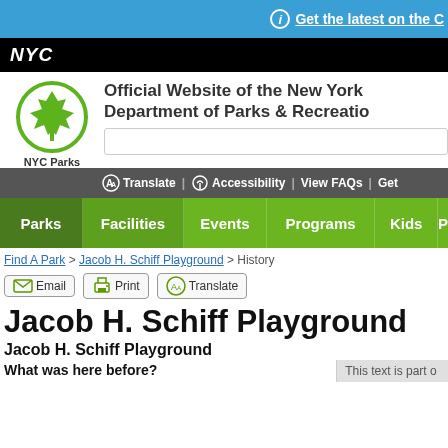Get the latest on the C
[Figure (logo): NYC black bar with white NYC logo]
[Figure (logo): NYC Parks green maple leaf logo in circle with text NYC Parks]
Official Website of the New York Department of Parks & Recreation
Translate | Accessibility | View FAQs | Get
Parks | Facilities | Events | Programs | Kids | P
Find A Park > Jacob H. Schiff Playground > History
Email  Print  Translate
Jacob H. Schiff Playground
Jacob H. Schiff Playground
What was here before?
This text is part of